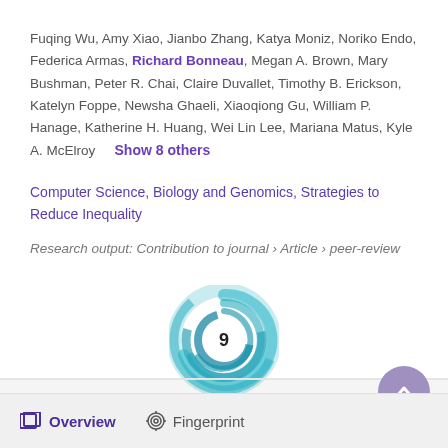Fuqing Wu, Amy Xiao, Jianbo Zhang, Katya Moniz, Noriko Endo, Federica Armas, Richard Bonneau, Megan A. Brown, Mary Bushman, Peter R. Chai, Claire Duvallet, Timothy B. Erickson, Katelyn Foppe, Newsha Ghaeli, Xiaoqiong Gu, William P. Hanage, Katherine H. Huang, Wei Lin Lee, Mariana Matus, Kyle A. McElroy   Show 8 others
Computer Science, Biology and Genomics, Strategies to Reduce Inequality
Research output: Contribution to journal › Article › peer-review
[Figure (other): Altmetric badge showing score of 9, displayed as a circular swirl graphic in teal/blue colors with the number 9 in the center]
Overview   Fingerprint